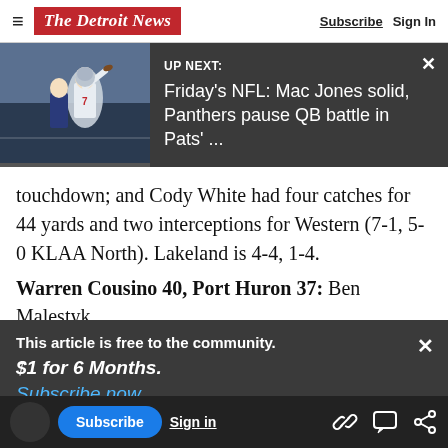The Detroit News | Subscribe  Sign In
[Figure (screenshot): UP NEXT banner with NFL image: Friday's NFL: Mac Jones solid, Panthers pause QB battle in Pats' ...]
touchdown; and Cody White had four catches for 44 yards and two interceptions for Western (7-1, 5-0 KLAA North). Lakeland is 4-4, 1-4.
Warren Cousino 40, Port Huron 37: Ben Malestyk
This article is free to the community.
$1 for 6 Months.
Subscribe now
Cousino (7-1, 5-0 MAC Blue). Port Huron is 4-4.